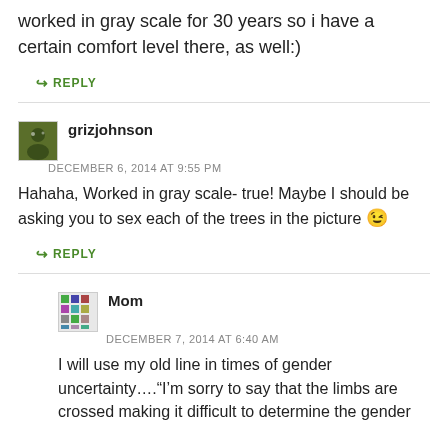worked in gray scale for 30 years so i have a certain comfort level there, as well:)
↳ REPLY
grizjohnson
DECEMBER 6, 2014 AT 9:55 PM
Hahaha, Worked in gray scale- true! Maybe I should be asking you to sex each of the trees in the picture 😉
↳ REPLY
Mom
DECEMBER 7, 2014 AT 6:40 AM
I will use my old line in times of gender uncertainty…."I'm sorry to say that the limbs are crossed making it difficult to determine the gender